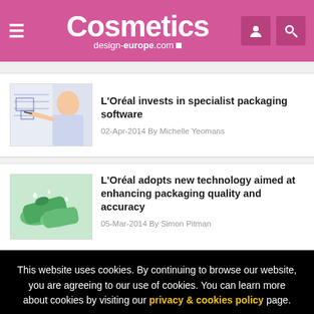Cosmetics design-europe.com
[Figure (photo): Thumbnail photo of a man holding a pen with technical diagrams]
L’Oréal invests in specialist packaging software
02-Apr-2014 By Michelle Yeomans
[Figure (photo): Thumbnail photo of green cosmetic product tubes with water droplets]
L’Oréal adopts new technology aimed at enhancing packaging quality and accuracy
05-Mar-2014 By Simon Pitman
This website uses cookies. By continuing to browse our website, you are agreeing to our use of cookies. You can learn more about cookies by visiting our privacy & cookies policy page.
I Agree